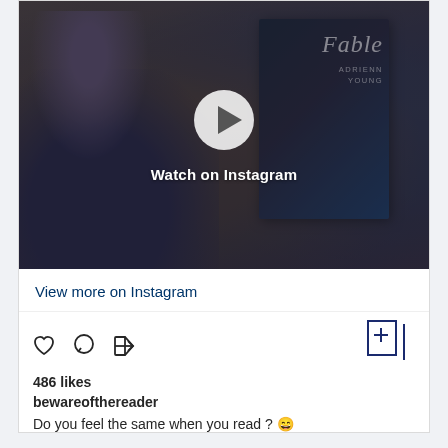[Figure (screenshot): Instagram video post showing a person holding a book 'Fable' by Adrienne Young, with a play button overlay and 'Watch on Instagram' text]
View more on Instagram
[Figure (infographic): Instagram action icons: heart (like), comment bubble, share arrow, and bookmark/save icon]
486 likes
bewareofthereader
Do you feel the same when you read ? 😄